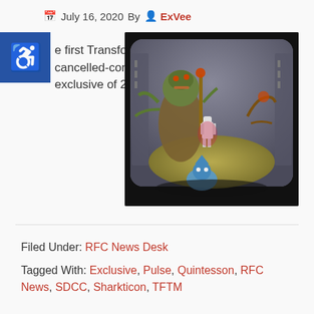July 16, 2020 By ExVee
e first Transformers cancelled-convention exclusive of 2020.
[Figure (photo): A Transformers toy set displayed in a diorama box. Features multiple figures including a large green alien/Quintesson character, a robot, and a Sharkticon figure in the foreground, arranged in a sci-fi themed backdrop.]
Filed Under: RFC News Desk
Tagged With: Exclusive, Pulse, Quintesson, RFC News, SDCC, Sharkticon, TFTM